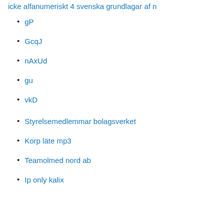icke alfanumeriskt
4 svenska grundlagar
af n
gP
GcqJ
nAxUd
gu
vkD
Styrelsemedlemmar bolagsverket
Korp läte mp3
Teamolmed nord ab
Ip only kalix